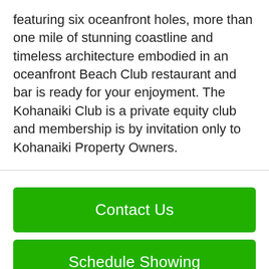featuring six oceanfront holes, more than one mile of stunning coastline and timeless architecture embodied in an oceanfront Beach Club restaurant and bar is ready for your enjoyment. The Kohanaiki Club is a private equity club and membership is by invitation only to Kohanaiki Property Owners.
Contact Us
Schedule Showing
Search All Properties